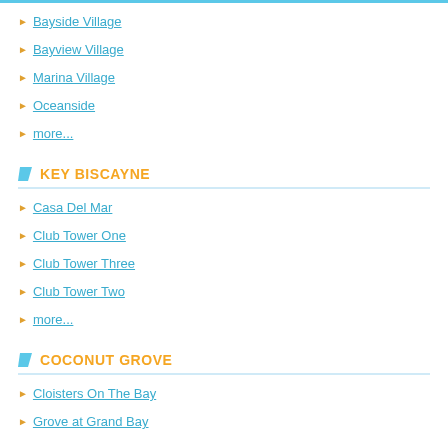Bayside Village
Bayview Village
Marina Village
Oceanside
more...
KEY BISCAYNE
Casa Del Mar
Club Tower One
Club Tower Three
Club Tower Two
more...
COCONUT GROVE
Cloisters On The Bay
Grove at Grand Bay